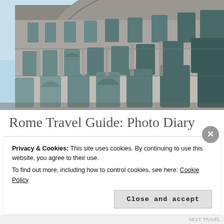[Figure (photo): Photo of the Colosseum in Rome against a light blue sky, showing the ancient arched exterior walls.]
Rome Travel Guide: Photo Diary
Privacy & Cookies: This site uses cookies. By continuing to use this website, you agree to their use.
To find out more, including how to control cookies, see here: Cookie Policy
Close and accept